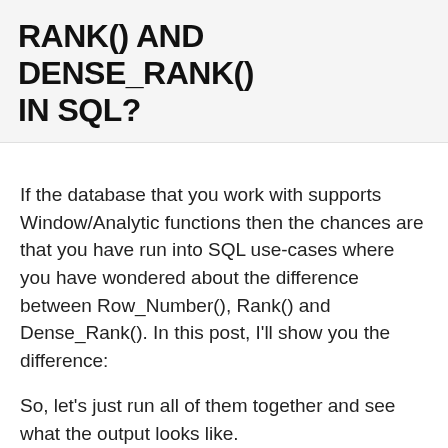RANK() AND DENSE_RANK() IN SQL?
If the database that you work with supports Window/Analytic functions then the chances are that you have run into SQL use-cases where you have wondered about the difference between Row_Number(), Rank() and Dense_Rank(). In this post, I'll show you the difference:
So, let's just run all of them together and see what the output looks like.
Here's my query: (Thanks StackExchange!)
select DisplayName,Reputation,
    Row_Number() OVER (Order by Reputation